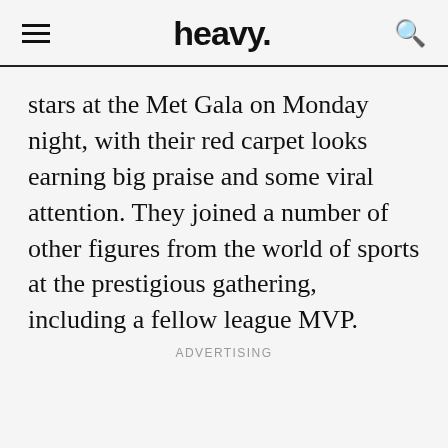heavy.
stars at the Met Gala on Monday night, with their red carpet looks earning big praise and some viral attention. They joined a number of other figures from the world of sports at the prestigious gathering, including a fellow league MVP.
ADVERTISING